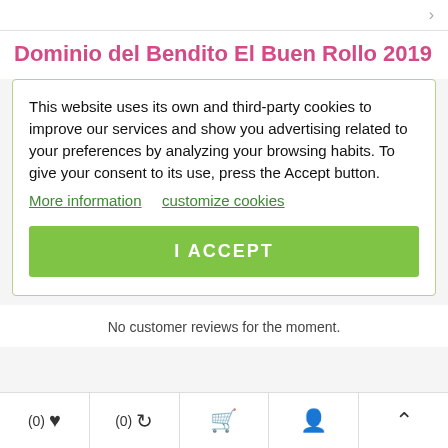Dominio del Bendito El Buen Rollo 2019
This website uses its own and third-party cookies to improve our services and show you advertising related to your preferences by analyzing your browsing habits. To give your consent to its use, press the Accept button. More information   customize cookies
I ACCEPT
No customer reviews for the moment.
(0) ♥   (0) ↺   🛒   👤   ∧